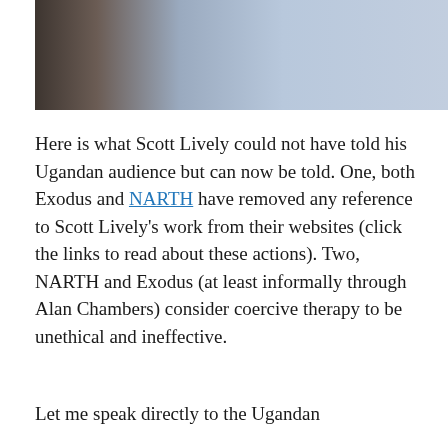[Figure (photo): Blurred/cropped photo of a person, mostly blue-grey tones, upper portion visible]
Here is what Scott Lively could not have told his Ugandan audience but can now be told. One, both Exodus and NARTH have removed any reference to Scott Lively’s work from their websites (click the links to read about these actions). Two, NARTH and Exodus (at least informally through Alan Chambers) consider coercive therapy to be unethical and ineffective.
Let me speak directly to the Ugandan